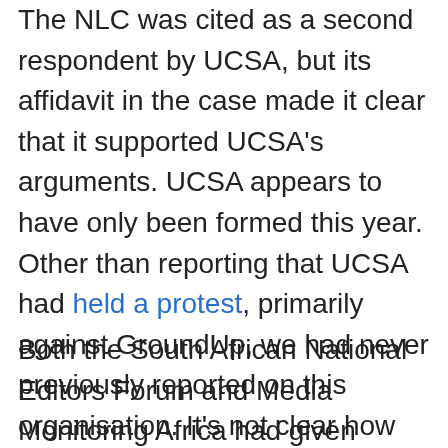The NLC was cited as a second respondent by UCSA, but its affidavit in the case made it clear that it supported UCSA's arguments. UCSA appears to have only been formed this year. Other than reporting that UCSA had held a protest, primarily against GroundUp, we had never previously reported on this organisation. It's not clear how UCSA is funded, what purpose it has beyond trying to stop information about recipients of lottery grants being published, or what standing it had to have brought this court case. All this leads us to suspect that UCSA is acting in cahoots with the NLC.
Both the South African National Editors Forum and Media Monitoring Africa had given notice that they had intended to join the case as respondents, effectively putting them on the same side as GroundUp. These two organisations intended to